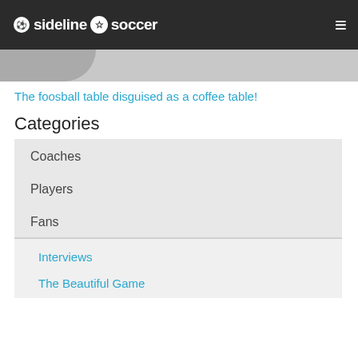sideline soccer
The foosball table disguised as a coffee table!
Categories
Coaches
Players
Fans
Interviews
The Beautiful Game